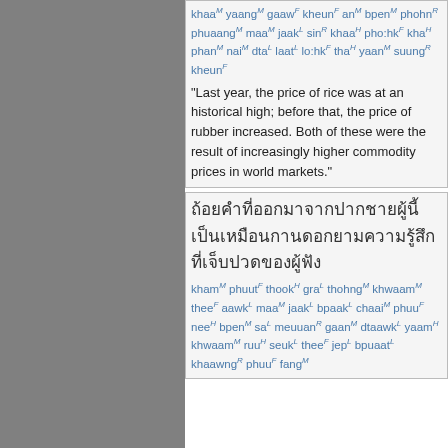khaaM yaangM gaawF kheunF anM bpenM phohnR phuaangM maaM jaakL sinR khaaH pho:hkF khaH phanM naiM dtaL laatL lo:hkF thaH yaanM suungR kheunF
"Last year, the price of rice was at an historical high; before that, the price of rubber increased. Both of these were the result of increasingly higher commodity prices in world markets."
[Thai script block]
khamM phuutF thookH graL thohngM khwaamM theeF aawkL maaM jaakL bpaakL chaaiM phuuF neeH bpenM saL meuuanR gaanM dtaawkL yaamH khwaamM ruuH seukL theeF jepL bpuaatL khaawngR phuuF fangM